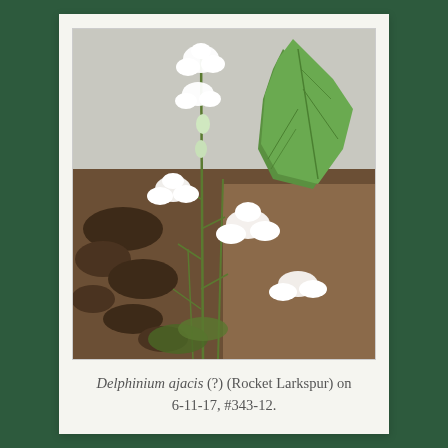[Figure (photo): A photograph of Delphinium ajacis (Rocket Larkspur) plant with white flowers growing in dark soil, alongside a broad green leaf plant. Photo taken on 6-11-17, specimen #343-12.]
Delphinium ajacis (?) (Rocket Larkspur) on 6-11-17, #343-12.